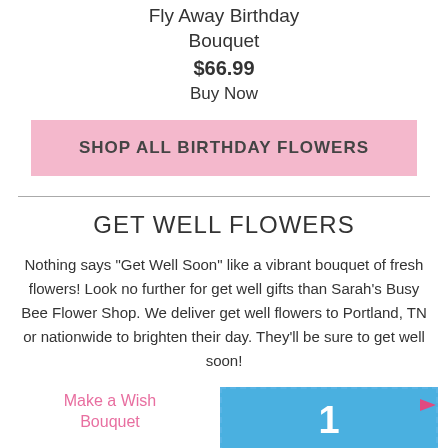Fly Away Birthday Bouquet
$66.99
Buy Now
SHOP ALL BIRTHDAY FLOWERS
GET WELL FLOWERS
Nothing says "Get Well Soon" like a vibrant bouquet of fresh flowers! Look no further for get well gifts than Sarah's Busy Bee Flower Shop. We deliver get well flowers to Portland, TN or nationwide to brighten their day. They'll be sure to get well soon!
[Figure (photo): Make a Wish Bouquet product image placeholder]
Make a Wish Bouquet
[Figure (infographic): Blue coupon block with dashed border and arrow, showing a number 1]